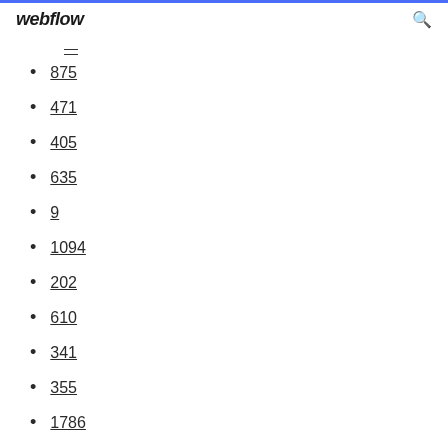webflow
—
875
471
405
635
9
1094
202
610
341
355
1786
827